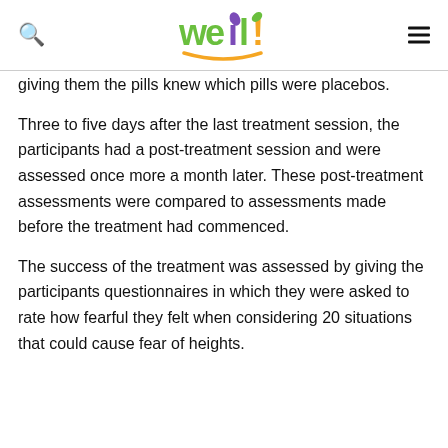weil [logo with search and menu icons]
giving them the pills knew which pills were placebos.
Three to five days after the last treatment session, the participants had a post-treatment session and were assessed once more a month later. These post-treatment assessments were compared to assessments made before the treatment had commenced.
The success of the treatment was assessed by giving the participants questionnaires in which they were asked to rate how fearful they felt when considering 20 situations that could cause fear of heights.